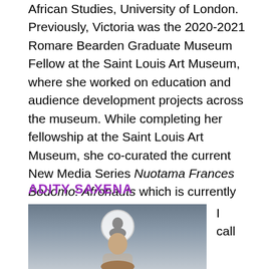African Studies, University of London. Previously, Victoria was the 2020-2021 Romare Bearden Graduate Museum Fellow at the Saint Louis Art Museum, where she worked on education and audience development projects across the museum. While completing her fellowship at the Saint Louis Art Museum, she co-curated the current New Media Series Nuotama Frances Bodomo: Afronauts which is currently on view through May 1, 2022.
ADITY SAXENA
[Figure (photo): Photo of Adity Saxena standing indoors with a circular logo/sign visible in the background above her head. The setting appears to be an indoor space with modern lighting.]
I call